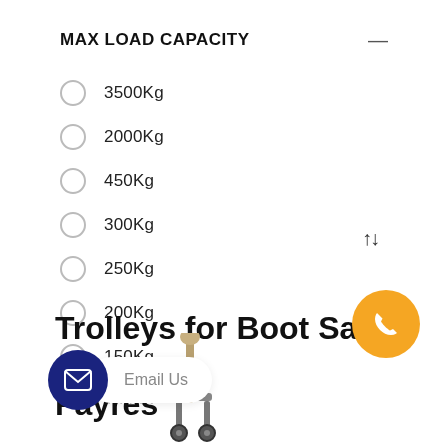MAX LOAD CAPACITY
3500Kg
2000Kg
450Kg
300Kg
250Kg
200Kg
150Kg
100Kg (partial)
Trolleys for Boot Sales & Fayres
[Figure (illustration): Trolley/cart handle image at bottom left area]
[Figure (other): Dark blue circle with email/envelope icon; white pill-shaped button labeled 'Email Us']
[Figure (other): Sort arrows (up/down) icon and orange circle with phone icon at bottom right]